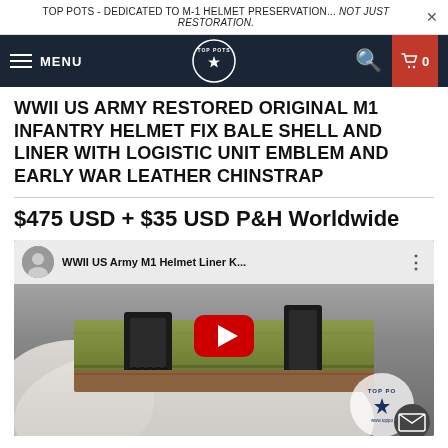TOP POTS - DEDICATED TO M-1 HELMET PRESERVATION... NOT JUST RESTORATION.
WWII US ARMY RESTORED ORIGINAL M1 INFANTRY HELMET FIX BALE SHELL AND LINER WITH LOGISTIC UNIT EMBLEM AND EARLY WAR LEATHER CHINSTRAP
$475 USD + $35 USD P&H Worldwide
[Figure (screenshot): YouTube video thumbnail showing a close-up of an olive drab chin strap buckle and leather strap held in white-gloved hands. Video title: 'WWII US Army M1 Helmet Liner K...' with Top Pots logo watermark and red YouTube play button.]